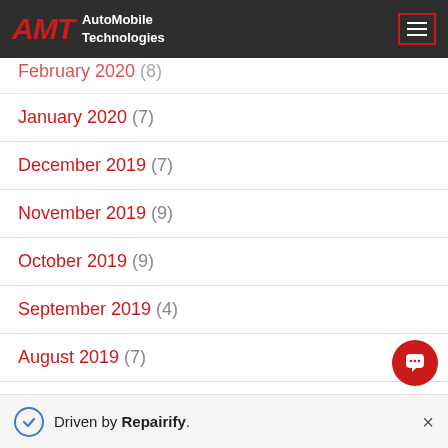AMT AutoMobile Technologies (navigation bar)
February 2020 (8) [partially visible]
January 2020 (7)
December 2019 (7)
November 2019 (9)
October 2019 (9)
September 2019 (4)
August 2019 (7)
July 2019 (10) [partially visible]
Driven by Repairify.